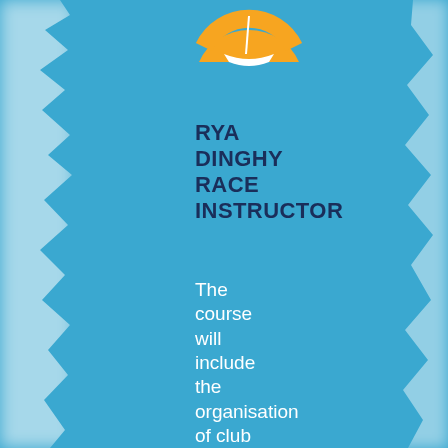[Figure (logo): RYA orange sailboat logo — semicircular orange shape with a white sailboat silhouette in the center]
RYA DINGHY RACE INSTRUCTOR
The course will include the organisation of club racing, preparation and management of the Start Racing course